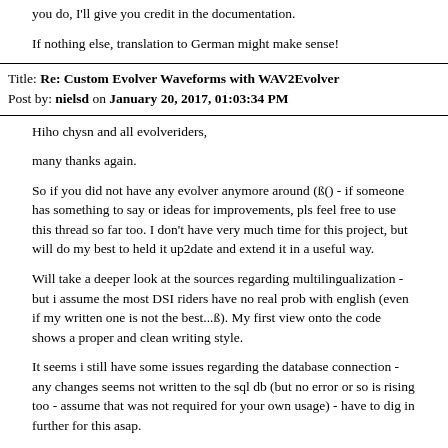you do, I'll give you credit in the documentation.

If nothing else, translation to German might make sense!
Title: Re: Custom Evolver Waveforms with WAV2Evolver
Post by: nielsd on January 20, 2017, 01:03:34 PM
Hiho chysn and all evolveriders,

many thanks again.

So if you did not have any evolver anymore around (ß() - if someone has something to say or ideas for improvements, pls feel free to use this thread so far too. I don't have very much time for this project, but will do my best to held it up2date and extend it in a useful way.

Will take a deeper look at the sources regarding multilingualization - but i assume the most DSI riders have no real prob with english (even if my written one is not the best...ß). My first view onto the code shows a proper and clean writing style.

It seems i still have some issues regarding the database connection - any changes seems not written to the sql db (but no error or so is rising too - assume that was not required for your own usage) - have to dig in further for this asap.

In case i do a public fork, will post it here too. I still can really